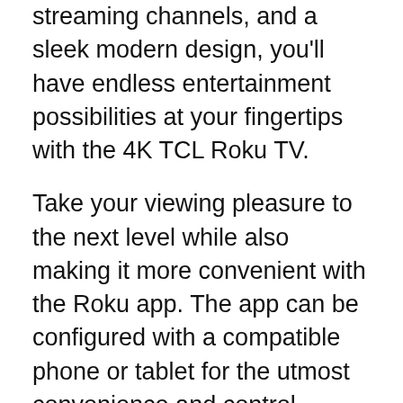With the stunning picture, thousands of streaming channels, and a sleek modern design, you'll have endless entertainment possibilities at your fingertips with the 4K TCL Roku TV.
Take your viewing pleasure to the next level while also making it more convenient with the Roku app. The app can be configured with a compatible phone or tablet for the utmost convenience and control.
With a simplistic interface and personalized home screen, you'll have your favorites right at your fingertips. Accessing your favorite